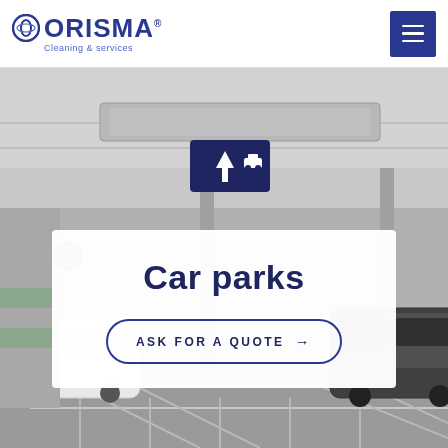ORISMA Cleaning & Services — navigation header with logo and menu button
[Figure (photo): Grayscale photograph of an indoor multi-story car park with parking signs, ventilation ducts on ceiling, white and black cars parked in bays, and painted floor markings.]
Car parks
ASK FOR A QUOTE →